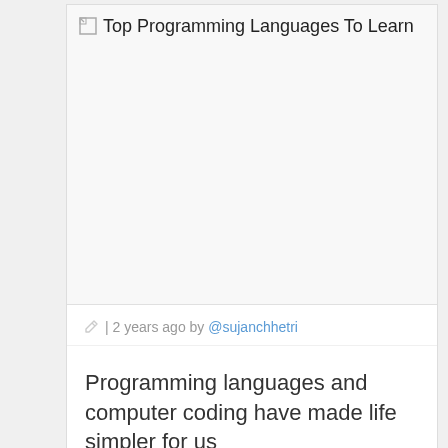[Figure (screenshot): Broken image placeholder with alt text 'Top Programming Languages To Learn' displayed in a large white image block]
| 2 years ago by @sujanchhetri
Programming languages and computer coding have made life simpler for us